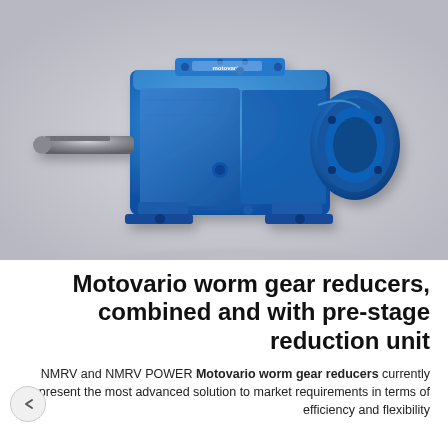[Figure (photo): Blue Motovario inline helical gear reducer / gearbox with output shaft on the left side, motor bell housing on right, and mounting feet at base. Rendered on a light grey gradient background.]
Motovario worm gear reducers, combined and with pre-stage reduction unit
NMRV and NMRV POWER Motovario worm gear reducers currently represent the most advanced solution to market requirements in terms of efficiency and flexibility